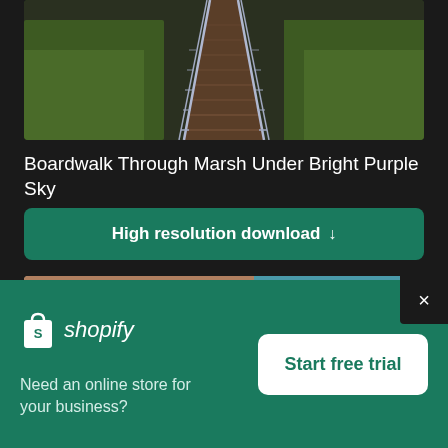[Figure (photo): Aerial/straight-on view of a wooden boardwalk extending through a marsh under a dark moody sky with green fields on either side]
Boardwalk Through Marsh Under Bright Purple Sky
High resolution download ↓
[Figure (photo): Aerial view of rocky coastal cliff with turquoise ocean waves and a person standing at the edge]
×
[Figure (logo): Shopify logo — white shopping bag icon with 'S' and italic 'shopify' text in white]
Need an online store for your business?
Start free trial